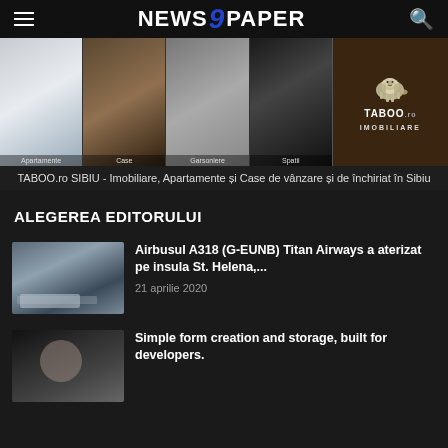NEWS 9 PAPER
[Figure (photo): TABOO.ro Imobiliare banner showing apartments, houses, studio apartments, spaces, and the TABOO lion logo]
TABOO.ro SIBIU - Imobiliare, Apartamente și Case de vânzare și de închiriat în Sibiu
ALEGEREA EDITORULUI
[Figure (photo): Thumbnail of airplane on runway, Airbus A318 G-EUNB Titan Airways at St. Helena island]
Airbusul A318 (G-EUNB) Titan Airways a aterizat pe insula St. Helena,...
21 aprilie 2020
[Figure (photo): Thumbnail of a woman, elegant portrait]
Simple form creation and storage, built for developers.